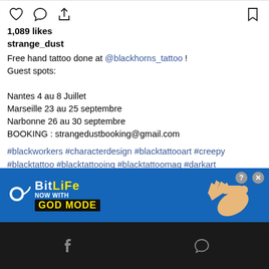[Figure (screenshot): Instagram post UI icons row: heart, comment bubble, share, and bookmark icons]
1,089 likes
strange_dust
Free hand tattoo done at @blackhorns_tattoo ! Guest spots:

Nantes 4 au 8 Juillet
Marseille 23 au 25 septembre
Narbonne 26 au 30 septembre
BOOKING : strangedustbooking@gmail.com
#blackworkers #characterdesign #blacktattooart #creepy #blacktattoo #blacktattooing #blacktattoomag #darkart #darkartists #angel #darkwork #blackworker #onlythedarkest #artsy #artshow #tattoist #occultarcana #onlyblackart #darktattoo #btattooing #artwork #blackwork #blacktattoos #blacktattooartist #creepytattoo #blxckink #tattoist #tattooart #tattooartist #blacktattooartist #blackinkedart
view all comments
[Figure (screenshot): BitLife advertisement banner: NOW WITH GOD MODE, with hand pointing emoji icon]